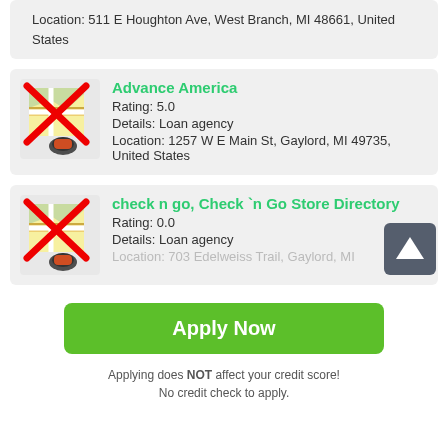Location: 511 E Houghton Ave, West Branch, MI 48661, United States
Advance America
Rating: 5.0
Details: Loan agency
Location: 1257 W E Main St, Gaylord, MI 49735, United States
check n go, Check `n Go Store Directory
Rating: 0.0
Details: Loan agency
Location: 703 Edelweiss Trail, Gaylord, MI
Apply Now
Applying does NOT affect your credit score!
No credit check to apply.